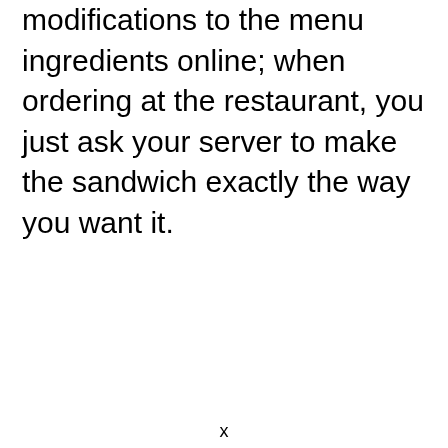modifications to the menu ingredients online; when ordering at the restaurant, you just ask your server to make the sandwich exactly the way you want it.
x